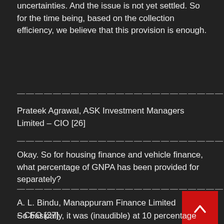uncertainties. And the issue is not yet settled. So for the time being, based on the collection efficiency, we believe that this provision is enough.
————————————————————————
Prateek Agrawal, ASK Investment Managers Limited – CIO [26]
————————————————————————
Okay. So for housing finance and vehicle finance, what percentage of GNPA has been provided for separately?
————————————————————————
A. L. Bindu, Manappuram Finance Limited – CFO [27]
————————————————————————
So basically, it was (inaudible) at 10 percentage and